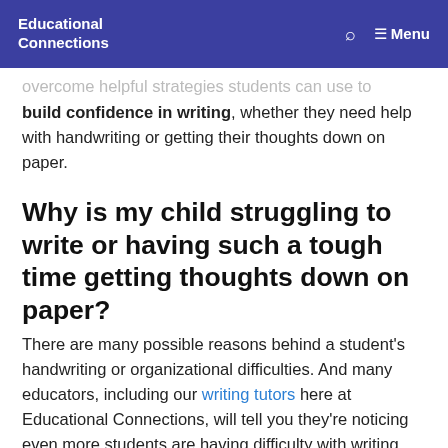Educational Connections   Menu
overcome helpful strategies students can use to build confidence in writing, whether they need help with handwriting or getting their thoughts down on paper.
Why is my child struggling to write or having such a tough time getting thoughts down on paper?
There are many possible reasons behind a student's handwriting or organizational difficulties. And many educators, including our writing tutors here at Educational Connections, will tell you they're noticing even more students are having difficulty with writing after spending a prolonged period in